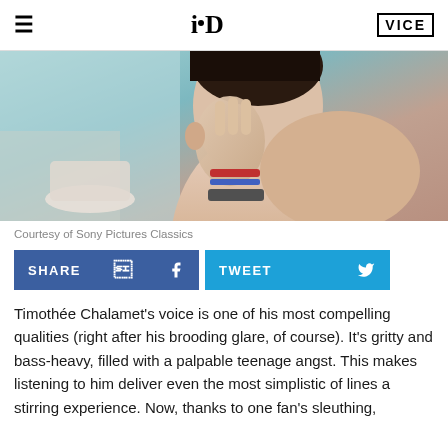i-D | VICE
[Figure (photo): Close-up photo of a young person (Timothée Chalamet) shirtless, touching their face, wearing bracelets, with a blurred background.]
Courtesy of Sony Pictures Classics
SHARE  TWEET
Timothée Chalamet's voice is one of his most compelling qualities (right after his brooding glare, of course). It's gritty and bass-heavy, filled with a palpable teenage angst. This makes listening to him deliver even the most simplistic of lines a stirring experience. Now, thanks to one fan's sleuthing,